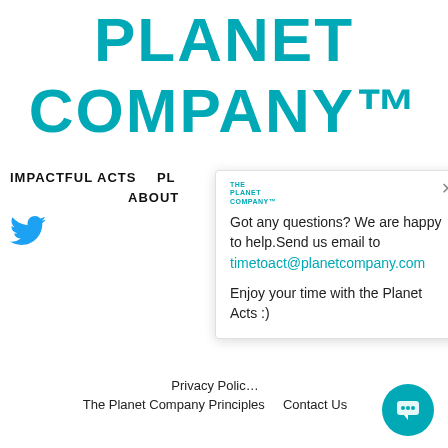PLANET COMPANY™
IMPACTFUL ACTS   PL   ABOUT
[Figure (logo): Twitter bird icon in teal/blue color]
[Figure (screenshot): Chat popup widget with logo 'THE PLANET COMPANY™', close X button, text 'Got any questions? We are happy to help. Send us email to timetoact@planetcompany.com', and 'Enjoy your time with the Planet Acts :)']
Privacy Polic…
The Planet Company Principles    Contact Us
[Figure (illustration): Teal circular chat button in bottom right corner]